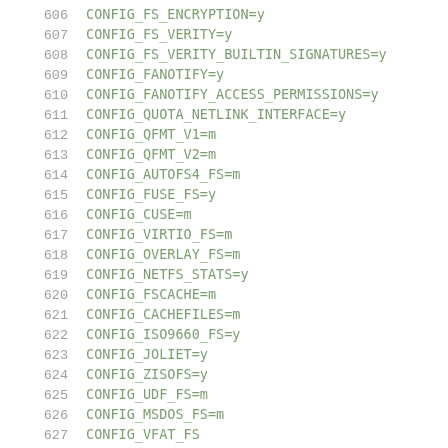606  CONFIG_FS_ENCRYPTION=y
607  CONFIG_FS_VERITY=y
608  CONFIG_FS_VERITY_BUILTIN_SIGNATURES=y
609  CONFIG_FANOTIFY=y
610  CONFIG_FANOTIFY_ACCESS_PERMISSIONS=y
611  CONFIG_QUOTA_NETLINK_INTERFACE=y
612  CONFIG_QFMT_V1=m
613  CONFIG_QFMT_V2=m
614  CONFIG_AUTOFS4_FS=m
615  CONFIG_FUSE_FS=y
616  CONFIG_CUSE=m
617  CONFIG_VIRTIO_FS=m
618  CONFIG_OVERLAY_FS=m
619  CONFIG_NETFS_STATS=y
620  CONFIG_FSCACHE=m
621  CONFIG_CACHEFILES=m
622  CONFIG_ISO9660_FS=y
623  CONFIG_JOLIET=y
624  CONFIG_ZISOFS=y
625  CONFIG_UDF_FS=m
626  CONFIG_MSDOS_FS=m
627  CONFIG_VFAT_FS